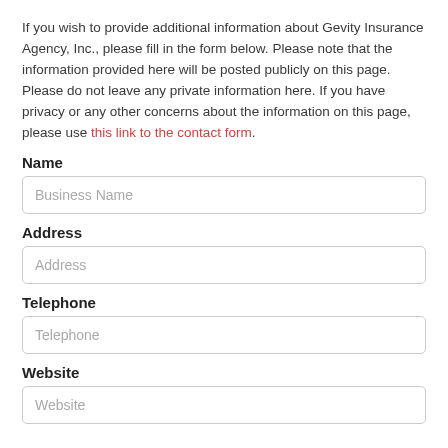If you wish to provide additional information about Gevity Insurance Agency, Inc., please fill in the form below. Please note that the information provided here will be posted publicly on this page. Please do not leave any private information here. If you have privacy or any other concerns about the information on this page, please use this link to the contact form.
Name
[Figure (other): Text input field with placeholder 'Business Name']
Address
[Figure (other): Text input field with placeholder 'Address']
Telephone
[Figure (other): Text input field with placeholder 'Telephone']
Website
[Figure (other): Text input field with placeholder 'Website']